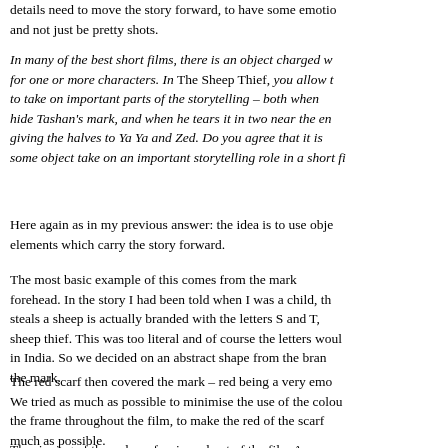details need to move the story forward, to have some emotion and not just be pretty shots.
In many of the best short films, there is an object charged w for one or more characters. In The Sheep Thief, you allow t to take on important parts of the storytelling – both when hide Tashan's mark, and when he tears it in two near the ena giving the halves to Ya Ya and Zed. Do you agree that it is some object take on an important storytelling role in a short fi
Here again as in my previous answer: the idea is to use obje elements which carry the story forward.
The most basic example of this comes from the mark forehead. In the story I had been told when I was a child, th steals a sheep is actually branded with the letters S and T, sheep thief. This was too literal and of course the letters woul in India. So we decided on an abstract shape from the bran the mark.
The red scarf then covered the mark – red being a very emo We tried as much as possible to minimise the use of the colou the frame throughout the film, to make the red of the scarf much as possible.
The ripping of the red scarf as in and out of the film A